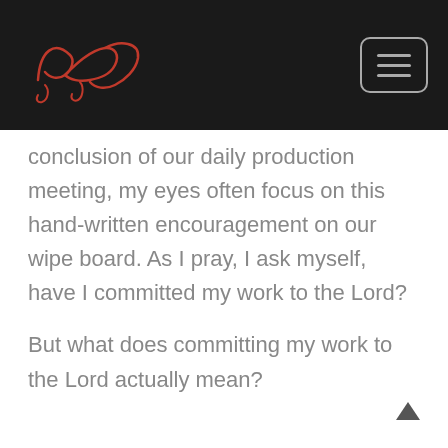[Logo signature] [Menu button]
conclusion of our daily production meeting, my eyes often focus on this hand-written encouragement on our wipe board. As I pray, I ask myself, have I committed my work to the Lord?
But what does committing my work to the Lord actually mean?